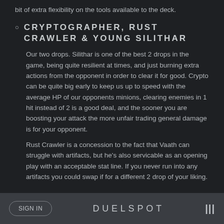bit of extra flexibility on the tools available to the deck.
CRYPTOGRAPHER, RUST CRAWLER & YOUNG SILITHAR
Our two drops. Silithar is one of the best 2 drops in the game, being quite resilient at times, and just burning extra actions from the opponent in order to clear it for good. Crypto can be quite big early to keep us up to speed with the average HP of our opponents minions, clearing enemies in 1 hit instead of 2 is a good deal, and the sooner you are boosting your attack the more unfair trading general damage is for your opponent.
Rust Crawler is a concession to the fact that Vaath can struggle with artifacts, but he's also servicable as an opening play with an acceptable stat line. If you never run into any artifacts you could swap if for a different 2 drop of your liking.
SIGN IN   DUELSPOT   |||